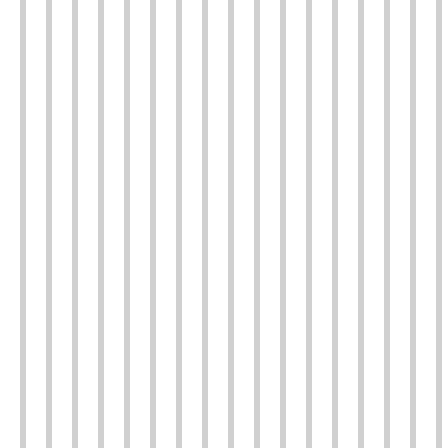astonish if anyone is clutch.
Log in or register to post comments
115 Re: Conf... m... Quick Read
ms by